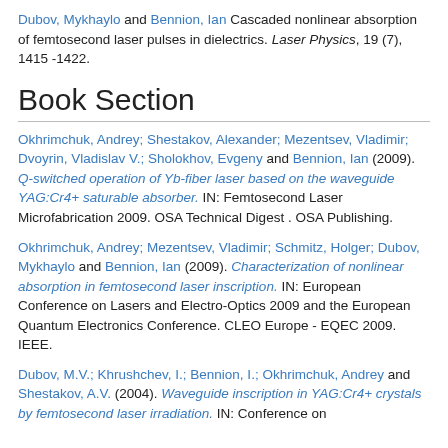Dubov, Mykhaylo and Bennion, Ian Cascaded nonlinear absorption of femtosecond laser pulses in dielectrics. Laser Physics, 19 (7), 1415 -1422.
Book Section
Okhrimchuk, Andrey; Shestakov, Alexander; Mezentsev, Vladimir; Dvoyrin, Vladislav V.; Sholokhov, Evgeny and Bennion, Ian (2009). Q-switched operation of Yb-fiber laser based on the waveguide YAG:Cr4+ saturable absorber. IN: Femtosecond Laser Microfabrication 2009. OSA Technical Digest . OSA Publishing.
Okhrimchuk, Andrey; Mezentsev, Vladimir; Schmitz, Holger; Dubov, Mykhaylo and Bennion, Ian (2009). Characterization of nonlinear absorption in femtosecond laser inscription. IN: European Conference on Lasers and Electro-Optics 2009 and the European Quantum Electronics Conference. CLEO Europe - EQEC 2009. IEEE.
Dubov, M.V.; Khrushchev, I.; Bennion, I.; Okhrimchuk, Andrey and Shestakov, A.V. (2004). Waveguide inscription in YAG:Cr4+ crystals by femtosecond laser irradiation. IN: Conference on